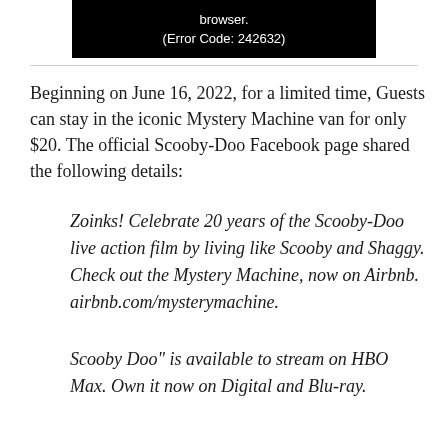[Figure (screenshot): Black video player area showing error text: 'browser.' and '(Error Code: 242632)']
Beginning on June 16, 2022, for a limited time, Guests can stay in the iconic Mystery Machine van for only $20. The official Scooby-Doo Facebook page shared the following details:
Zoinks! Celebrate 20 years of the Scooby-Doo live action film by living like Scooby and Shaggy. Check out the Mystery Machine, now on Airbnb. airbnb.com/mysterymachine.
Scooby Doo" is available to stream on HBO Max. Own it now on Digital and Blu-ray.